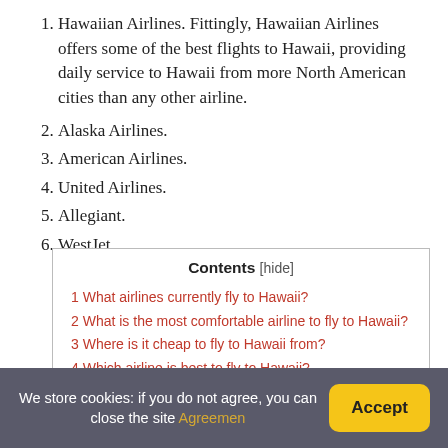1. Hawaiian Airlines. Fittingly, Hawaiian Airlines offers some of the best flights to Hawaii, providing daily service to Hawaii from more North American cities than any other airline.
2. Alaska Airlines.
3. American Airlines.
4. United Airlines.
5. Allegiant.
6. WestJet.
| Contents [hide] |
| 1 What airlines currently fly to Hawaii? |
| 2 What is the most comfortable airline to fly to Hawaii? |
| 3 Where is it cheap to fly to Hawaii from? |
| 4 Which airline is best to fly to Hawaii? |
| 5 Is Hawaii open for travel? |
| 6 What day of the week is cheapest to fly to Hawaii? |
We store cookies: if you do not agree, you can close the site Agreemen